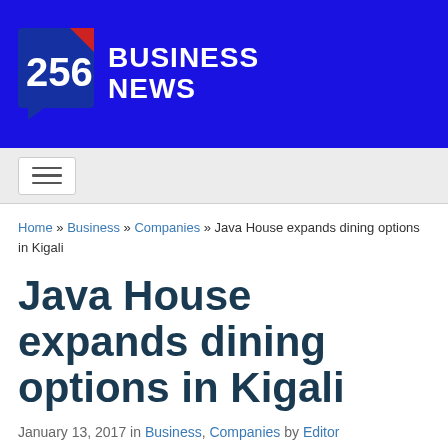[Figure (logo): 256 Business News logo — blue banner with speech bubble icon showing '256' and white text 'BUSINESS NEWS']
Navigation menu bar with hamburger button
Home » Business » Companies » Java House expands dining options in Kigali
Java House expands dining options in Kigali
January 13, 2017 in Business, Companies by Editor